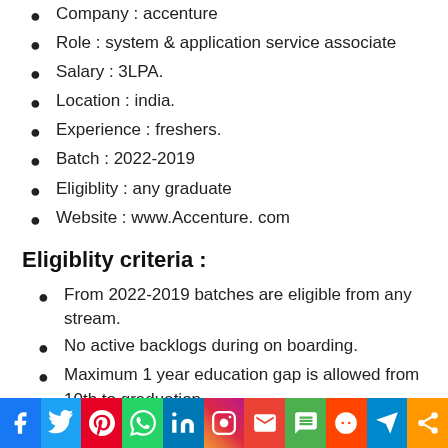Company : accenture
Role : system & application service associate
Salary : 3LPA.
Location : india.
Experience : freshers.
Batch : 2022-2019
Eligiblity : any graduate
Website : www.Accenture. com
Eligiblity criteria :
From 2022-2019 batches are eligible from any stream.
No active backlogs during on boarding.
Maximum 1 year education gap is allowed from 10th to graduation.
From past 3 months applied candidates are eli...